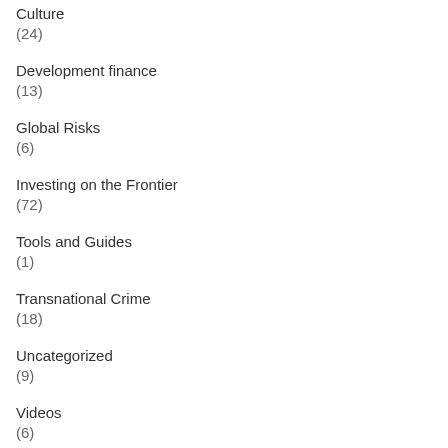Culture
(24)
Development finance
(13)
Global Risks
(6)
Investing on the Frontier
(72)
Tools and Guides
(1)
Transnational Crime
(18)
Uncategorized
(9)
Videos
(6)